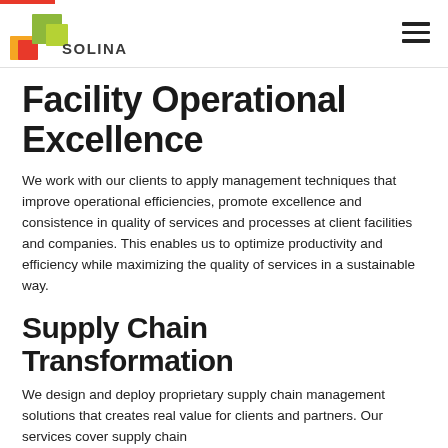SOLINA
Facility Operational Excellence
We work with our clients to apply management techniques that improve operational efficiencies, promote excellence and consistence in quality of services and processes at client facilities and companies. This enables us to optimize productivity and efficiency while maximizing the quality of services in a sustainable way.
Supply Chain Transformation
We design and deploy proprietary supply chain management solutions that creates real value for clients and partners. Our services cover supply chain